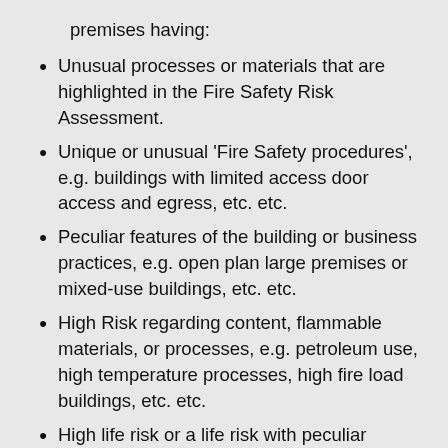premises having:
Unusual processes or materials that are highlighted in the Fire Safety Risk Assessment.
Unique or unusual 'Fire Safety procedures', e.g. buildings with limited access door access and egress, etc. etc.
Peculiar features of the building or business practices, e.g. open plan large premises or mixed-use buildings, etc. etc.
High Risk regarding content, flammable materials, or processes, e.g. petroleum use, high temperature processes, high fire load buildings, etc. etc.
High life risk or a life risk with peculiar requirements, less able bodied or mentally impaired persons for example, e.g. residential